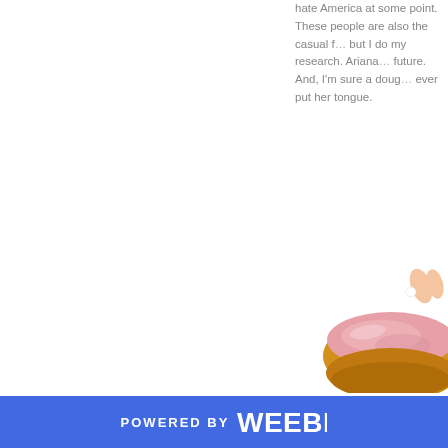hate America at some point. These people are also the casual fans, but I do my research. Ariana is the future. And, I'm sure a doughnut ever put her tongue.
[Figure (photo): A pink-frosted doughnut being held by a hand, shown in the lower right of the page. The doughnut has a golden-brown body with pink icing on top. A hand is partially visible at the top holding it.]
POWERED BY weebly